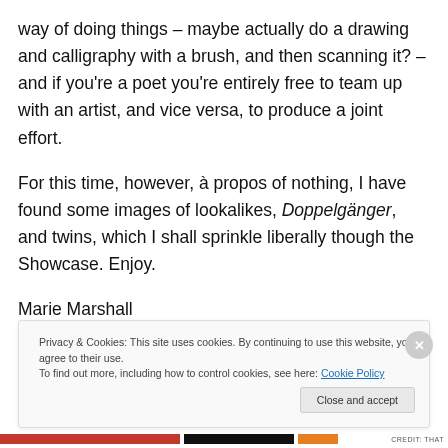way of doing things – maybe actually do a drawing and calligraphy with a brush, and then scanning it? – and if you're a poet you're entirely free to team up with an artist, and vice versa, to produce a joint effort.
For this time, however, à propos of nothing, I have found some images of lookalikes, Doppelgänger, and twins, which I shall sprinkle liberally though the Showcase. Enjoy.
Marie Marshall
editor
Privacy & Cookies: This site uses cookies. By continuing to use this website, you agree to their use.
To find out more, including how to control cookies, see here: Cookie Policy